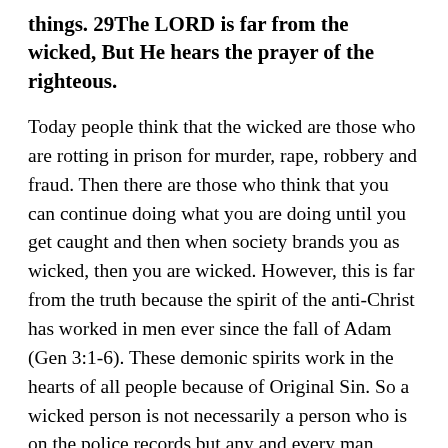things. 29The LORD is far from the wicked, But He hears the prayer of the righteous.
Today people think that the wicked are those who are rotting in prison for murder, rape, robbery and fraud. Then there are those who think that you can continue doing what you are doing until you get caught and then when society brands you as wicked, then you are wicked. However, this is far from the truth because the spirit of the anti-Christ has worked in men ever since the fall of Adam (Gen 3:1-6). These demonic spirits work in the hearts of all people because of Original Sin. So a wicked person is not necessarily a person who is on the police records but any and every man whose life is not in communion with God through Jesus Christ.